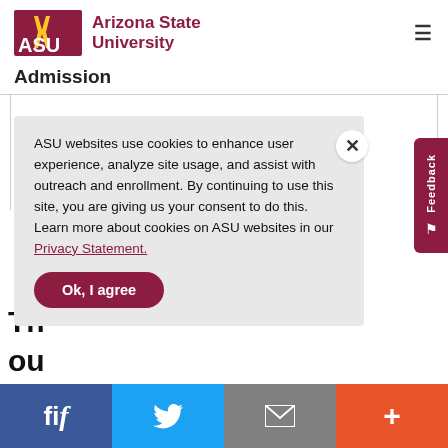ASU Arizona State University
Admission
ASU websites use cookies to enhance user experience, analyze site usage, and assist with outreach and enrollment. By continuing to use this site, you are giving us your consent to do this. Learn more about cookies on ASU websites in our Privacy Statement.
Ok, I agree
Th... ou...
f | Twitter | Email | +